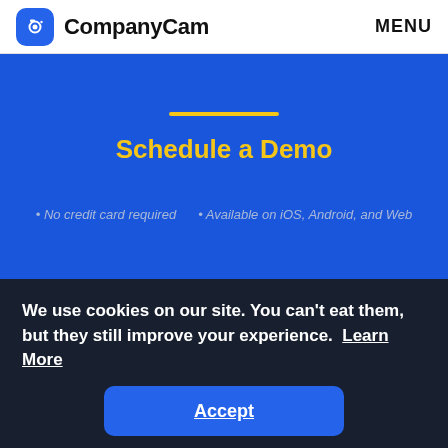CompanyCam   MENU
Schedule a Demo
• No credit card required   • Available on iOS, Android, and Web
We use cookies on our site. You can't eat them, but they still improve your experience. Learn More
Accept
CompanyCam helps contractors build trust with their crews